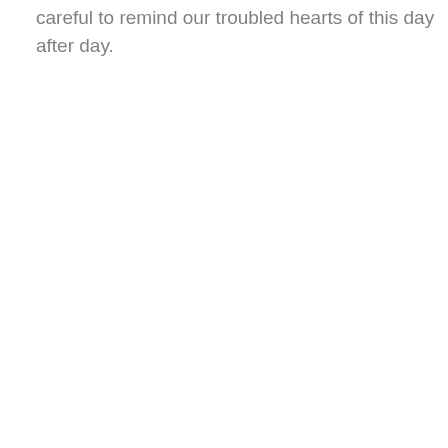careful to remind our troubled hearts of this day after day.